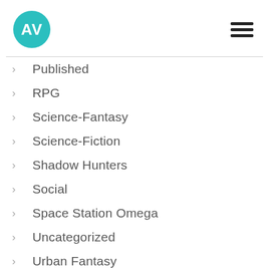[Figure (logo): AV logo: teal circle with white letters AV]
Published
RPG
Science-Fantasy
Science-Fiction
Shadow Hunters
Social
Space Station Omega
Uncategorized
Urban Fantasy
Vigilance
Within Reach